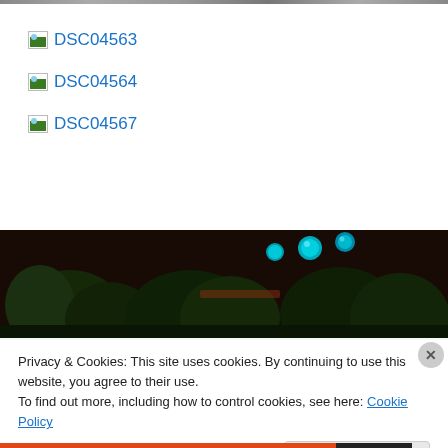[Figure (photo): Top strip of a photo, partially visible at very top of page]
DSC04563
DSC04564
DSC04567
[Figure (photo): Dark outdoor photo showing greenery/trees with teal/blue decorative balls and warm ambient lighting]
Privacy & Cookies: This site uses cookies. By continuing to use this website, you agree to their use.
To find out more, including how to control cookies, see here: Cookie Policy
Close and accept